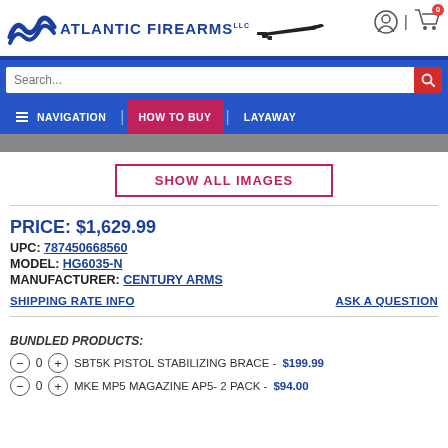[Figure (screenshot): Atlantic Firearms website header with logo, cart icon, search bar, and navigation menu]
SHOW ALL IMAGES
PRICE: $1,629.99
UPC: 787450668560
MODEL: HG6035-N
MANUFACTURER: CENTURY ARMS
SHIPPING RATE INFO
ASK A QUESTION
BUNDLED PRODUCTS:
SBT5K PISTOL STABILIZING BRACE - $199.99
MKE MP5 MAGAZINE AP5- 2 PACK - $94.00